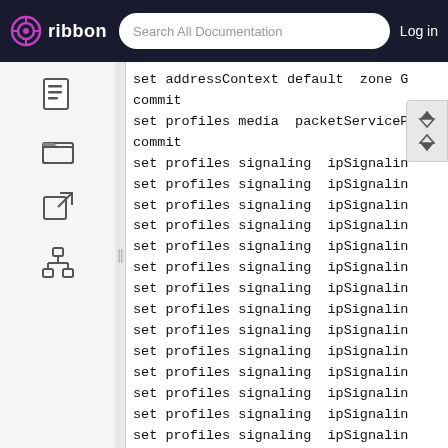ribbon | Search All Documentation | Log in
set addressContext default  zone GI
commit
set profiles media  packetServicePro
commit
set profiles signaling  ipSignalingP
set profiles signaling  ipSignalingP
set profiles signaling  ipSignalingP
set profiles signaling  ipSignalingP
set profiles signaling  ipSignalingP
set profiles signaling  ipSignalingP
set profiles signaling  ipSignalingP
set profiles signaling  ipSignalingP
set profiles signaling  ipSignalingP
set profiles signaling  ipSignalingP
set profiles signaling  ipSignalingP
set profiles signaling  ipSignalingP
set profiles signaling  ipSignalingP
set profiles signaling  ipSignalingP
set profiles signaling  ipSignalingP
set profiles signaling  ipSignalingP